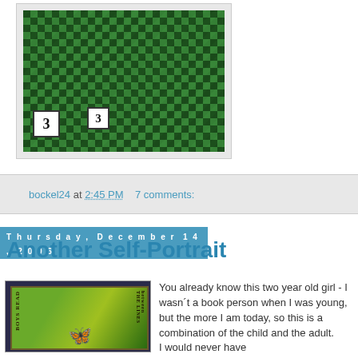[Figure (photo): Art piece showing a green checkerboard chess floor perspective with number badges labeled '3' in black and white squares]
bockel24 at 2:45 PM   7 comments:
Thursday, December 14, 2006
Another Self-Portrait
[Figure (photo): Mixed media art piece with dark blue border, inner colorful artwork showing a child figure with butterfly wings, leaves, text reading 'BOYS READ' on left and 'between THE LINES' on right]
You already know this two year old girl - I wasn´t a book person when I was young, but the more I am today, so this is a combination of the child and the adult.
I would never have